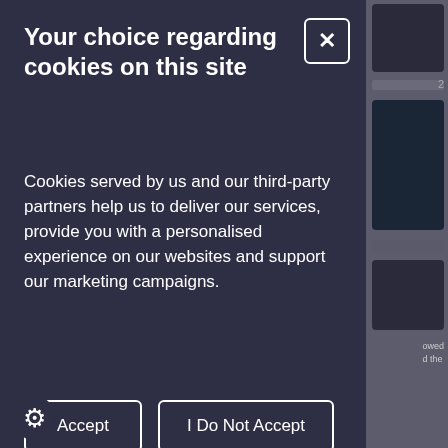Your choice regarding cookies on this site
Cookies served by us and our third-party partners help us to deliver our services, provide you with a personalised experience on our websites and support our marketing campaigns.
Accept
I Do Not Accept
Strictly Necessary Cookies
These Cookies are required for the operation of our Websites. They enable basic site functionality such as page navigation and access to secure areas such as when you sign in to your online